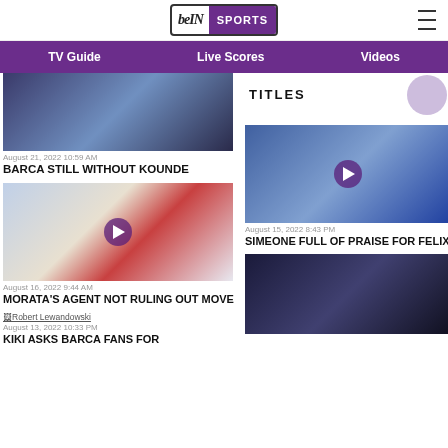[Figure (logo): beIN SPORTS logo with purple background on SPORTS text]
TV Guide   Live Scores   Videos
[Figure (photo): Barcelona player in striped jersey (Spotify sponsor visible)]
August 21, 2022 10:59 AM
BARCA STILL WITHOUT KOUNDE
TITLES
[Figure (photo): Atletico Madrid player in red and white striped jersey with play button overlay]
August 16, 2022 9:44 AM
MORATA'S AGENT NOT RULING OUT MOVE
[Figure (photo): Simeone gesturing on touchline with play button overlay]
August 15, 2022 8:43 PM
SIMEONE FULL OF PRAISE FOR FELIX
[Figure (photo): Robert Lewandowski image (broken image link shown)]
August 13, 2022 10:33 PM
KIKI ASKS BARCA FANS FOR...
[Figure (photo): Dark photo of players embracing]